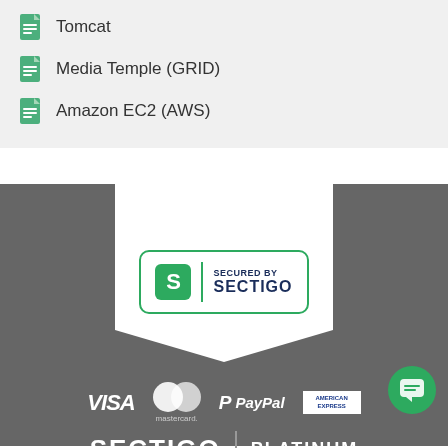Tomcat
Media Temple (GRID)
Amazon EC2 (AWS)
[Figure (logo): Secured by Sectigo badge with green S logo, vertical divider, and text SECURED BY SECTIGO inside rounded rectangle border on white bookmark-shaped panel over dark gray background]
[Figure (logo): Payment method logos: VISA, Mastercard, PayPal, American Express on dark gray background, with green chat button overlay]
[Figure (logo): SECTIGO | PLATINUM text in white on dark gray background]